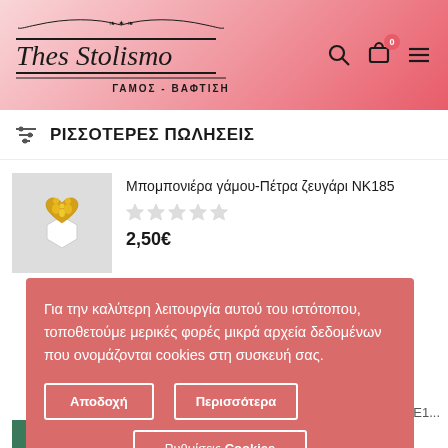Thes Stolismo - ΓΑΜΟΣ - ΒΑΦΤΙΣΗ
ΡΙΣΣΟΤΕΡΕΣ ΠΩΛΗΣΕΙΣ
[Figure (photo): Gold heart-shaped couple figurine on white hexagonal base]
Μπομπονιέρα γάμου-Πέτρα ζευγάρι ΝΚ185
2,50€
Για την καλύτερη λειτουργία αυτού του ιστότοπου, τοποθετούμε μερικές φορές μικρά αρχεία δεδομένων που ονομάζονται cookies στη συσκευή σας.
Αποδοχή
Περισσότερα
Ρυθμίσεις Cookies
μ Ζωάκια ΛΕ1...